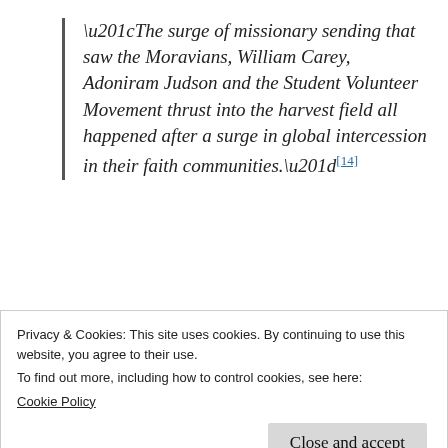“The surge of missionary sending that saw the Moravians, William Carey, Adoniram Judson and the Student Volunteer Movement thrust into the harvest field all happened after a surge in global intercession in their faith communities.”[14]
“In the UK, a recent survey indicated
Privacy & Cookies: This site uses cookies. By continuing to use this website, you agree to their use.
To find out more, including how to control cookies, see here:
Cookie Policy
Close and accept
command in Scripture – there are 145